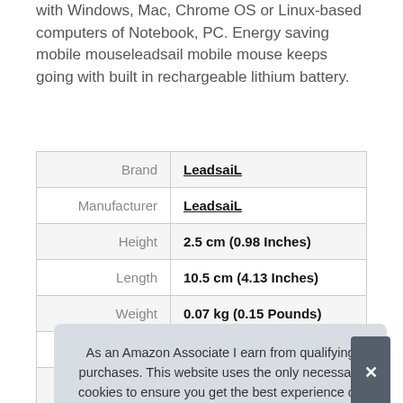with Windows, Mac, Chrome OS or Linux-based computers of Notebook, PC. Energy saving mobile mouseleadsail mobile mouse keeps going with built in rechargeable lithium battery.
|  |  |
| --- | --- |
| Brand | LeadsaiL |
| Manufacturer | LeadsaiL |
| Height | 2.5 cm (0.98 Inches) |
| Length | 10.5 cm (4.13 Inches) |
| Weight | 0.07 kg (0.15 Pounds) |
| Width | 5 cm (1.97 Inches) |
| P |  |
As an Amazon Associate I earn from qualifying purchases. This website uses the only necessary cookies to ensure you get the best experience on our website. More information